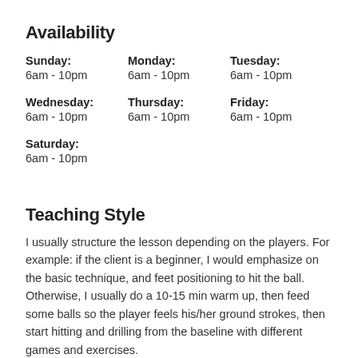Availability
Sunday:
6am - 10pm
Monday:
6am - 10pm
Tuesday:
6am - 10pm
Wednesday:
6am - 10pm
Thursday:
6am - 10pm
Friday:
6am - 10pm
Saturday:
6am - 10pm
Teaching Style
I usually structure the lesson depending on the players. For example: if the client is a beginner, I would emphasize on the basic technique, and feet positioning to hit the ball. Otherwise, I usually do a 10-15 min warm up, then feed some balls so the player feels his/her ground strokes, then start hitting and drilling from the baseline with different games and exercises.